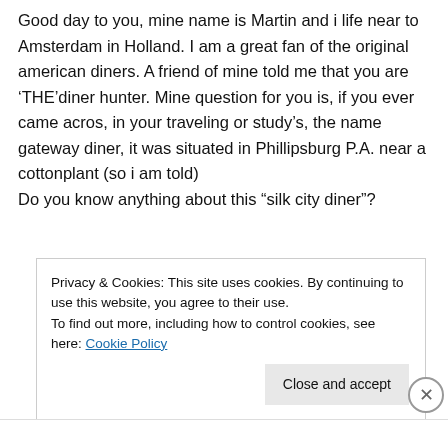Good day to you, mine name is Martin and i life near to Amsterdam in Holland. I am a great fan of the original american diners. A friend of mine told me that you are ‘THE’diner hunter. Mine question for you is, if you ever came acros, in your traveling or study’s, the name gateway diner, it was situated in Phillipsburg P.A. near a cottonplant (so i am told)
Do you know anything about this “silk city diner”?
Privacy & Cookies: This site uses cookies. By continuing to use this website, you agree to their use.
To find out more, including how to control cookies, see here: Cookie Policy